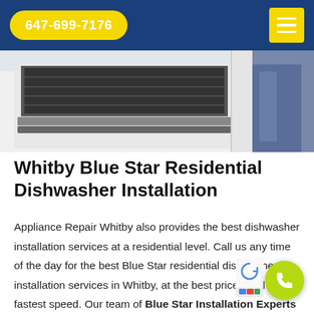647-699-7176
[Figure (photo): A technician in blue work pants installing or inspecting a dishwasher in a white kitchen cabinet]
Whitby Blue Star Residential Dishwasher Installation
Appliance Repair Whitby also provides the best dishwasher installation services at a residential level. Call us any time of the day for the best Blue Star residential dishwasher installation services in Whitby, at the best prices and the fastest speed. Our team of Blue Star Installation Experts in Whitby can effortlessly install and place your dishwasher at an easy and desired location in your